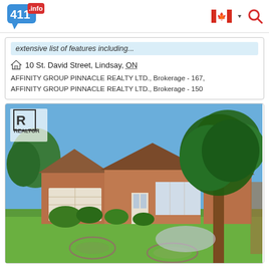411.info — Canada flag and search icon
extensive list of features including...
10 St. David Street, Lindsay, ON
AFFINITY GROUP PINNACLE REALTY LTD., Brokerage - 167, AFFINITY GROUP PINNACLE REALTY LTD., Brokerage - 150
[Figure (photo): Exterior photo of a brick bungalow at 10 St. David Street, Lindsay ON. Single-car garage on the left, front door in center, bay window on right, large tree in foreground, green lawn with decorative rock gardens, blue sky with trees in background. REALTOR logo watermark top-left.]